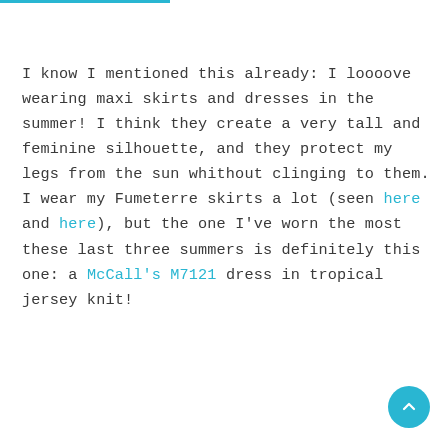I know I mentioned this already: I loooove wearing maxi skirts and dresses in the summer! I think they create a very tall and feminine silhouette, and they protect my legs from the sun whithout clinging to them. I wear my Fumeterre skirts a lot (seen here and here), but the one I've worn the most these last three summers is definitely this one: a McCall's M7121 dress in tropical jersey knit!